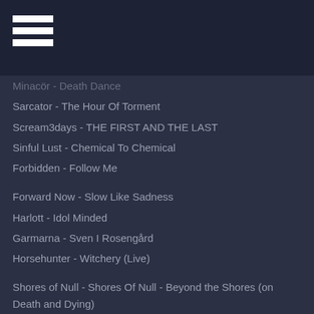☰
Minacör - Death Dance
Sarcator - The Hour Of Torment
Scream3days - THE FIRST AND THE LAST
Sinful Lust - Chemical To Chemical
Forbidden - Follow Me
Forward Now - Slow Like Sadness
Harlott - Idol Minded
Garmarna - Sven I Rosengård
Horsehunter - Witchery (Live)
Shores of Null - Shores Of Null - Beyond the Shores (on Death and Dying)
Vendetta - Conversation
To Kill Achilles - Oh God, I've Never Felt This Low
Toxikull - Cursed and Punished
TV's Kyle - The-Swarm
Ulcerate [Finland] - Took The Ti...